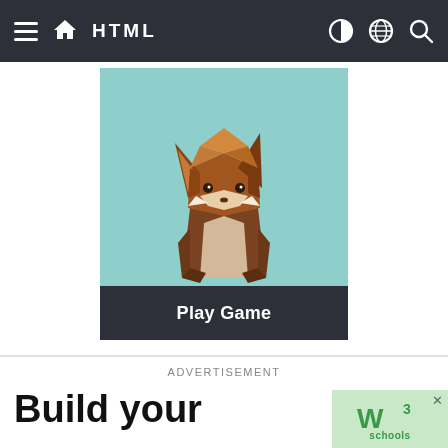HTML
[Figure (illustration): Low-poly geometric fox character standing upright on a teal/light blue background, rendered in shades of brown and beige.]
Play Game
ADVERTISEMENT
[Figure (infographic): Advertisement banner showing 'Build your...' text on left and W3Schools logo (W with superscript 3 and 'schools' text) on teal background on right, with an X close button.]